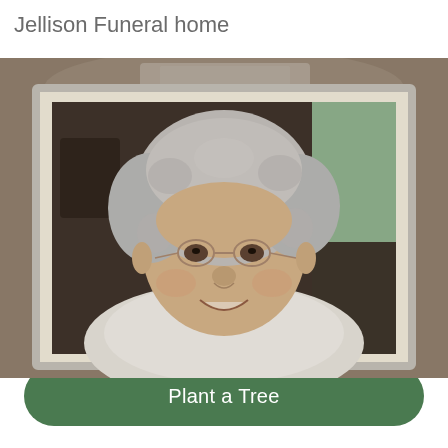Jellison Funeral home
[Figure (photo): A smiling elderly woman with short curly gray hair and glasses, wearing a white top, photographed indoors with a window visible in the background. The portrait is displayed in a cream/off-white frame with a gray border, set against a blurred background of photographs.]
Plant a Tree